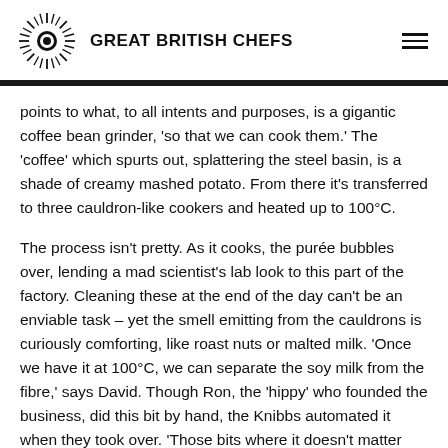GREAT BRITISH CHEFS
points to what, to all intents and purposes, is a gigantic coffee bean grinder, 'so that we can cook them.' The 'coffee' which spurts out, splattering the steel basin, is a shade of creamy mashed potato. From there it's transferred to three cauldron-like cookers and heated up to 100°C.
The process isn't pretty. As it cooks, the purée bubbles over, lending a mad scientist's lab look to this part of the factory. Cleaning these at the end of the day can't be an enviable task – yet the smell emitting from the cauldrons is curiously comforting, like roast nuts or malted milk. 'Once we have it at 100°C, we can separate the soy milk from the fibre,' says David. Though Ron, the 'hippy' who founded the business, did this bit by hand, the Knibbs automated it when they took over. 'Those bits where it doesn't matter whether a machine or a person is in control we have automated, where possible. This machine